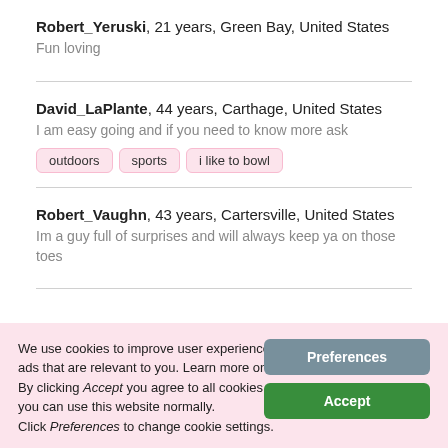Robert_Yeruski, 21 years, Green Bay, United States
Fun loving
David_LaPlante, 44 years, Carthage, United States
I am easy going and if you need to know more ask
outdoors
sports
i like to bowl
Robert_Vaughn, 43 years, Cartersville, United States
Im a guy full of surprises and will always keep ya on those toes
We use cookies to improve user experience and to serve ads that are relevant to you. Learn more on Cookie Policy. By clicking Accept you agree to all cookies we collect and you can use this website normally. Click Preferences to change cookie settings.